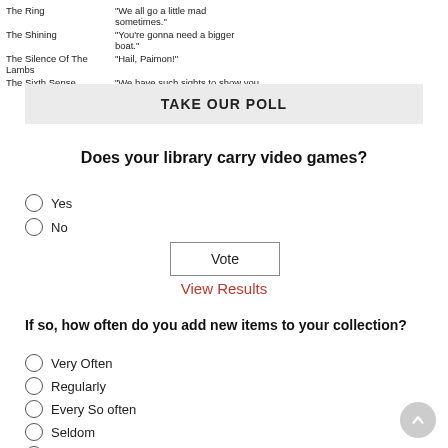| Movie | Quote |
| --- | --- |
| The Ring | "We all go a little mad sometimes." |
| The Shining | "You're gonna need a bigger boat." |
| The Silence Of The Lambs | "Hail, Paimon!" |
| The Sixth Sense | "We have such sights to show you ..." |
TAKE OUR POLL
Does your library carry video games?
Yes
No
Vote
View Results
If so, how often do you add new items to your collection?
Very Often
Regularly
Every So often
Seldom
Almost Never